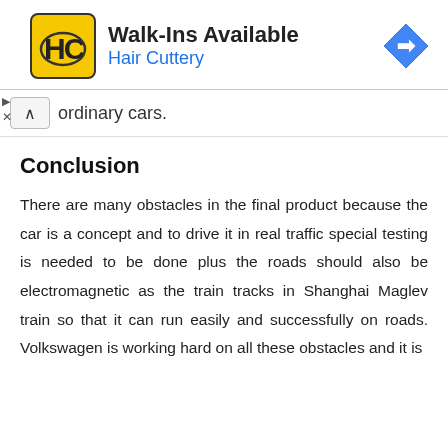[Figure (other): Hair Cuttery advertisement banner with HC logo, 'Walk-Ins Available' headline, 'Hair Cuttery' subtitle in blue, and a Google Maps navigation icon on the right.]
ordinary cars.
Conclusion
There are many obstacles in the final product because the car is a concept and to drive it in real traffic special testing is needed to be done plus the roads should also be electromagnetic as the train tracks in Shanghai Maglev train so that it can run easily and successfully on roads. Volkswagen is working hard on all these obstacles and it is